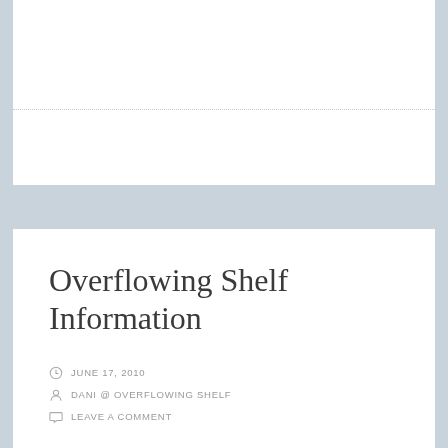Overflowing Shelf Information
JUNE 17, 2010
DANI @ OVERFLOWING SHELF
LEAVE A COMMENT